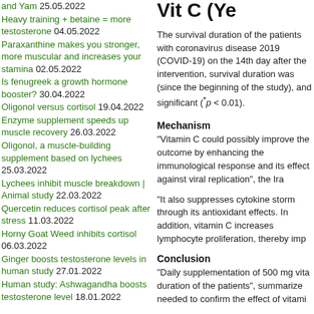and Yam 25.05.2022
Heavy training + betaine = more testosterone 04.05.2022
Paraxanthine makes you stronger, more muscular and increases your stamina 02.05.2022
Is fenugreek a growth hormone booster? 30.04.2022
Oligonol versus cortisol 19.04.2022
Enzyme supplement speeds up muscle recovery 26.03.2022
Oligonol, a muscle-building supplement based on lychees 25.03.2022
Lychees inhibit muscle breakdown | Animal study 22.03.2022
Quercetin reduces cortisol peak after stress 11.03.2022
Horny Goat Weed inhibits cortisol 06.03.2022
Ginger boosts testosterone levels in human study 27.01.2022
Human study: Ashwagandha boosts testosterone level 18.01.2022
Vit C (Ye
The survival duration of the patients with coronavirus disease 2019 (COVID-19) on the 14th day after the intervention, survival duration was (since the beginning of the study), and significant (*p < 0.01).
Mechanism
"Vitamin C could possibly improve the outcome by enhancing the immunological response and its effect against viral replication", the Ira
"It also suppresses cytokine storm through its antioxidant effects. In addition, vitamin C increases lymphocyte proliferation, thereby imp
Conclusion
"Daily supplementation of 500 mg vita duration of the patients", summarize needed to confirm the effect of vitami